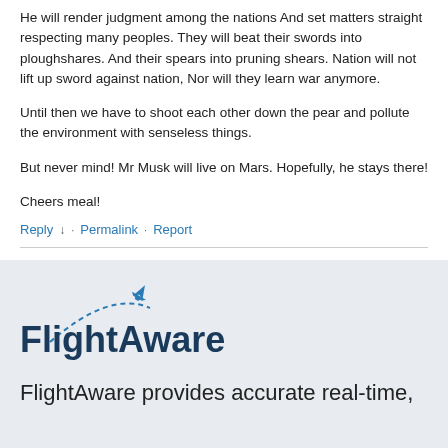He will render judgment among the nations And set matters straight respecting many peoples. They will beat their swords into ploughshares. And their spears into pruning shears. Nation will not lift up sword against nation, Nor will they learn war anymore.
Until then we have to shoot each other down the pear and pollute the environment with senseless things.
But never mind! Mr Musk will live on Mars. Hopefully, he stays there!
Cheers meal!
Reply ↓ · Permalink · Report
[Figure (logo): FlightAware logo with airplane icon and dashed arc trail]
FlightAware provides accurate real-time,